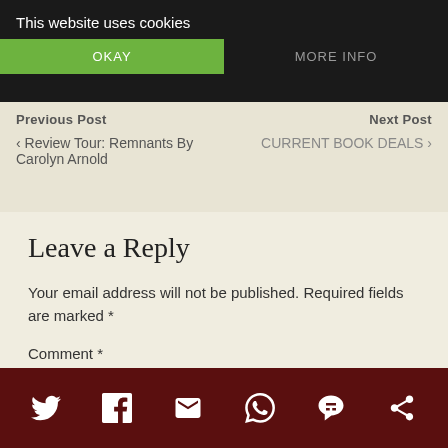This website uses cookies
OKAY
MORE INFO
Previous Post
Next Post
< Review Tour: Remnants By Carolyn Arnold
CURRENT BOOK DEALS >
Leave a Reply
Your email address will not be published. Required fields are marked *
Comment *
[Figure (infographic): Social share bar with icons: Twitter, Facebook, Email, WhatsApp, SMS, and another icon]